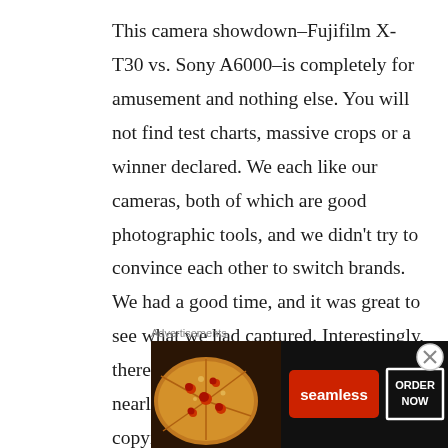This camera showdown–Fujifilm X-T30 vs. Sony A6000–is completely for amusement and nothing else. You will not find test charts, massive crops or a winner declared. We each like our cameras, both of which are good photographic tools, and we didn't try to convince each other to switch brands. We had a good time, and it was great to see what we had captured. Interestingly, there were several pictures that were nearly identical, not because we were copying each other, but because we both happened to see the same thing. If there's any lesson, it's that vision is
Advertisements
[Figure (photo): Seamless food delivery advertisement banner showing pizza slices on the left, red Seamless logo button in the center, and 'ORDER NOW' button on a dark background.]